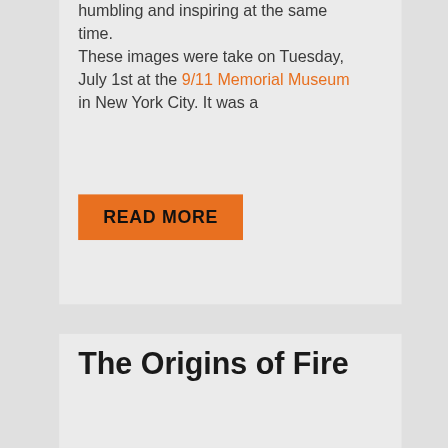humbling and inspiring at the same time.
These images were take on Tuesday, July 1st at the 9/11 Memorial Museum in New York City. It was a
READ MORE
The Origins of Fire